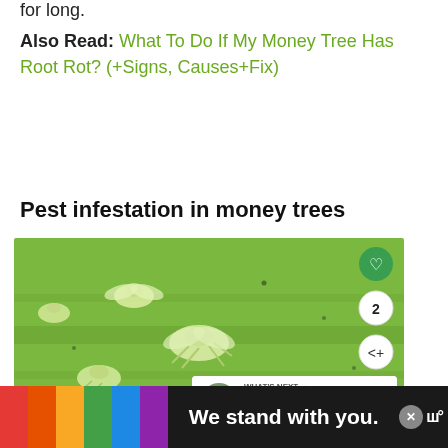for long.
Also Read: What To Do If My Money Tree Has Root Rot? (+Signs, Causes+Fix)
Pest infestation in money trees
[Figure (photo): Close-up photo of pale green aphid insects on a green leaf surface, with a heart button, share count of 2, and a share icon on the right side, plus a 'WHAT'S NEXT' overlay thumbnail showing 'When Do You Repot...']
We stand with you.